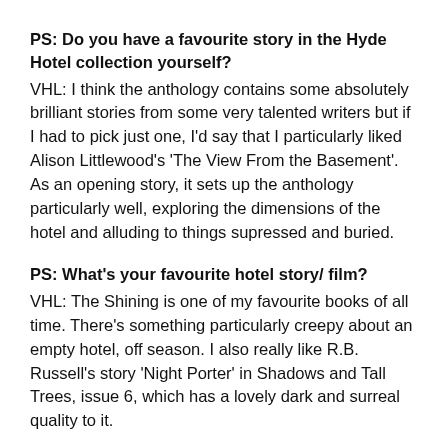PS: Do you have a favourite story in the Hyde Hotel collection yourself?
VHL: I think the anthology contains some absolutely brilliant stories from some very talented writers but if I had to pick just one, I’d say that I particularly liked Alison Littlewood’s ‘The View From the Basement’. As an opening story, it sets up the anthology particularly well, exploring the dimensions of the hotel and alluding to things supressed and buried.
PS: What’s your favourite hotel story/ film?
VHL: The Shining is one of my favourite books of all time. There’s something particularly creepy about an empty hotel, off season. I also really like R.B. Russell’s story ‘Night Porter’ in Shadows and Tall Trees, issue 6, which has a lovely dark and surreal quality to it.